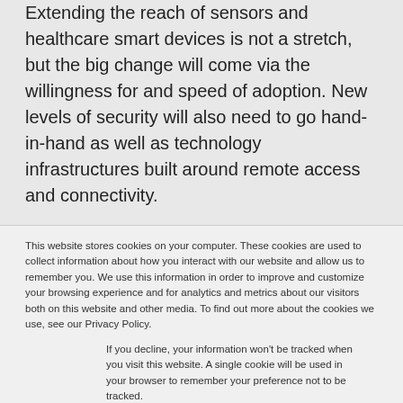Extending the reach of sensors and healthcare smart devices is not a stretch, but the big change will come via the willingness for and speed of adoption. New levels of security will also need to go hand-in-hand as well as technology infrastructures built around remote access and connectivity.
This website stores cookies on your computer. These cookies are used to collect information about how you interact with our website and allow us to remember you. We use this information in order to improve and customize your browsing experience and for analytics and metrics about our visitors both on this website and other media. To find out more about the cookies we use, see our Privacy Policy.
If you decline, your information won't be tracked when you visit this website. A single cookie will be used in your browser to remember your preference not to be tracked.